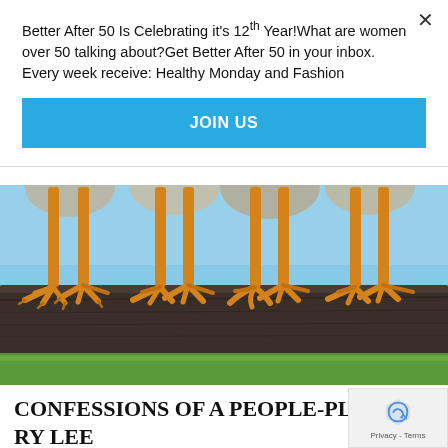Better After 50 Is Celebrating it's 12th Year!What are women over 50 talking about?Get Better After 50 in your inbox. Every week receive: Healthy Monday and Fashion
[Figure (other): Blue JOIN US button / call-to-action banner]
[Figure (photo): Close-up photo of chicken/bird feet and legs perched on a dark wooden log, with blue sky visible in the background and green grass at the bottom]
CONFESSIONS OF A PEOPLE-PLEASING ADDICT FROM TRAUMA THERAPIST RY LEE